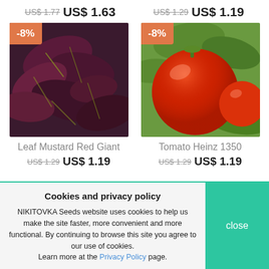US$ 1.77  US$ 1.63   US$ 1.29  US$ 1.19
[Figure (photo): Red/purple Leaf Mustard Red Giant plant leaves with -8% discount badge]
[Figure (photo): Red ripe Tomato Heinz 1350 on vine with -8% discount badge]
Leaf Mustard Red Giant
US$ 1.29  US$ 1.19
Tomato Heinz 1350
US$ 1.29  US$ 1.19
Cookies and privacy policy
NIKITOVKA Seeds website uses cookies to help us make the site faster, more convenient and more functional. By continuing to browse this site you agree to our use of cookies.
Learn more at the Privacy Policy page.
close